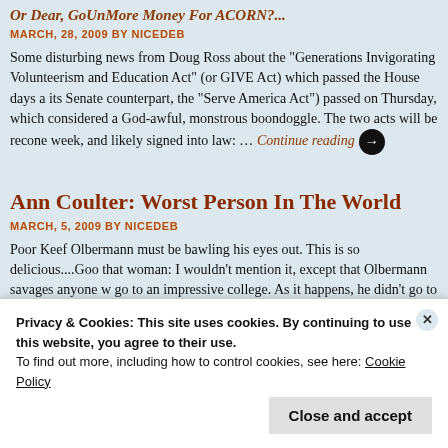Ann Coulter: Worst Person In The World
MARCH, 28, 2009 BY NICEDEB
Some disturbing news from Doug Ross about the "Generations Invigorating Volunteerism and Education Act" (or GIVE Act) which passed the House days a its Senate counterpart, the "Serve America Act") passed on Thursday, which considered a God-awful, monstrous boondoggle. The two acts will be recon week, and likely signed into law: … Continue reading →
Ann Coulter: Worst Person In The World
MARCH, 5, 2009 BY NICEDEB
Poor Keef Olbermann must be bawling his eyes out. This is so delicious....Goo that woman: I wouldn't mention it, except that Olbermann savages anyone w go to an impressive college. As it happens, he didn't go to an impressive colle
Privacy & Cookies: This site uses cookies. By continuing to use this website, you agree to their use. To find out more, including how to control cookies, see here: Cookie Policy
Close and accept